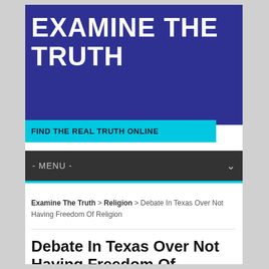EXAMINE THE TRUTH
FIND THE REAL TRUTH ONLINE
- MENU -
Examine The Truth > Religion > Debate In Texas Over Not Having Freedom Of Religion
Debate In Texas Over Not Having Freedom Of